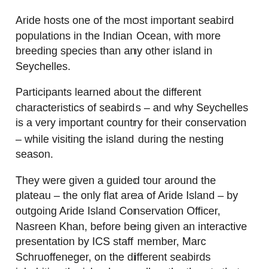Aride hosts one of the most important seabird populations in the Indian Ocean, with more breeding species than any other island in Seychelles.
Participants learned about the different characteristics of seabirds – and why Seychelles is a very important country for their conservation – while visiting the island during the nesting season.
They were given a guided tour around the plateau – the only flat area of Aride Island – by outgoing Aride Island Conservation Officer, Nasreen Khan, before being given an interactive presentation by ICS staff member, Marc Schruoffeneger, on the different seabirds inhabiting the island, as well as the threats that they face as a result of human activity.
ICS intern, Ilana Engelbrecht, then demonstrated to the students how to assess the body condition and injuries obtained by seabirds, as well as how to stabilise and